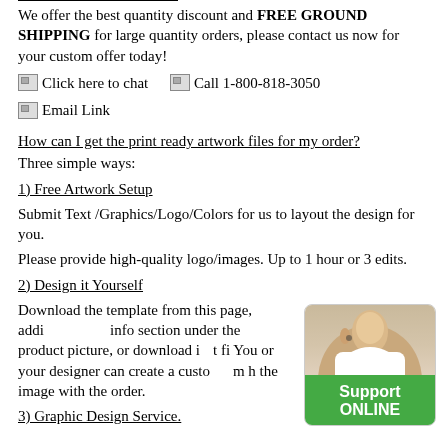We offer the best quantity discount and FREE GROUND SHIPPING for large quantity orders, please contact us now for your custom offer today!
[Figure (other): Click here to chat icon/button]
[Figure (other): Call 1-800-818-3050 icon/button]
[Figure (other): Email Link icon/button]
How can I get the print ready artwork files for my order?
Three simple ways:
1) Free Artwork Setup
Submit Text /Graphics/Logo/Colors for us to layout the design for you.
Please provide high-quality logo/images. Up to 1 hour or 3 edits.
2) Design it Yourself
Download the template from this page, addi info section under the product picture, or download i fi You or your designer can create a custom h the image with the order.
3) Graphic Design Service.
[Figure (photo): Support online chat agent woman with headset, with Support ONLINE green label]